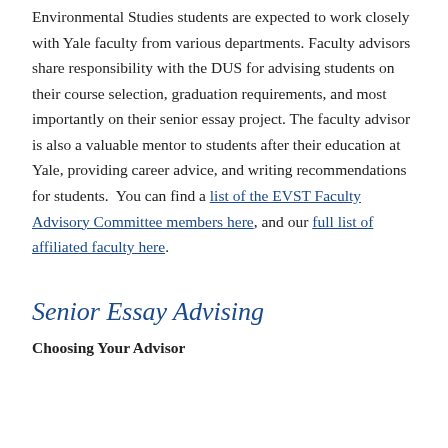Environmental Studies students are expected to work closely with Yale faculty from various departments. Faculty advisors share responsibility with the DUS for advising students on their course selection, graduation requirements, and most importantly on their senior essay project. The faculty advisor is also a valuable mentor to students after their education at Yale, providing career advice, and writing recommendations for students. You can find a list of the EVST Faculty Advisory Committee members here, and our full list of affiliated faculty here.
Senior Essay Advising
Choosing Your Advisor